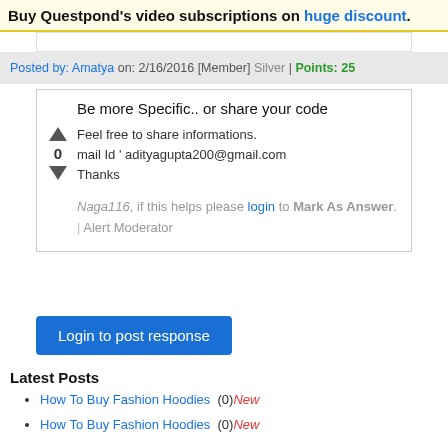Buy Questpond's video subscriptions on huge discount.
Posted by: Amatya on: 2/16/2016 [Member] Silver | Points: 25
Be more Specific.. or share your code
Feel free to share informations.
mail Id ' adityagupta200@gmail.com
Thanks
Naga116, if this helps please login to Mark As Answer. | Alert Moderator
Login to post response
Latest Posts
How To Buy Fashion Hoodies  (0)New
How To Buy Fashion Hoodies  (0)New